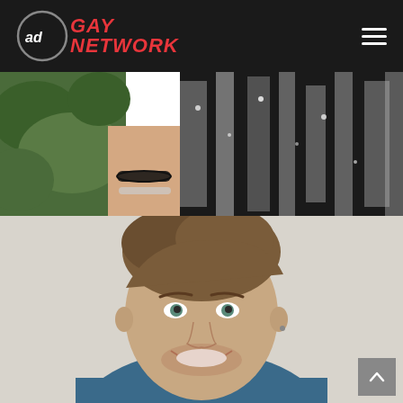ad GAY NETWORK
[Figure (photo): Top portion showing a hand with bracelet and jewelry against zebra-print sequined fabric and green foliage]
[Figure (photo): Headshot of a young smiling man with brown hair wearing a blue t-shirt against a light grey background]